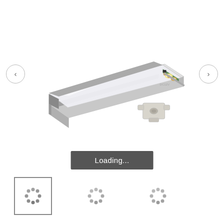[Figure (photo): LED aluminum channel/extrusion profile with frosted diffuser cover partially open, showing LED strip with warm white LEDs inside. An end cap connector piece is shown separately to the right of the profile. Image shown against white background.]
Loading...
[Figure (other): Thumbnail with loading spinner (selected, bordered)]
[Figure (other): Loading spinner thumbnail 2]
[Figure (other): Loading spinner thumbnail 3]